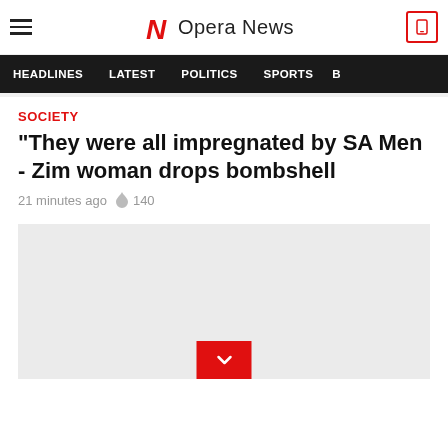Opera News
HEADLINES  LATEST  POLITICS  SPORTS
SOCIETY
“They were all impregnated by SA Men - Zim woman drops bombshell
21 minutes ago  140
[Figure (photo): Article image placeholder (light grey box) with red chevron/expand button at bottom center]